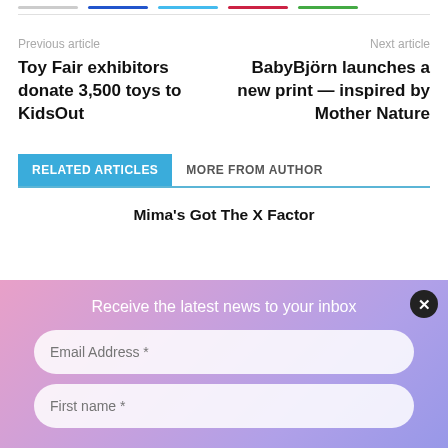Previous article
Toy Fair exhibitors donate 3,500 toys to KidsOut
Next article
BabyBjörn launches a new print — inspired by Mother Nature
RELATED ARTICLES    MORE FROM AUTHOR
Mima's Got The X Factor
Receive the latest news to your inbox
Email Address *
First name *